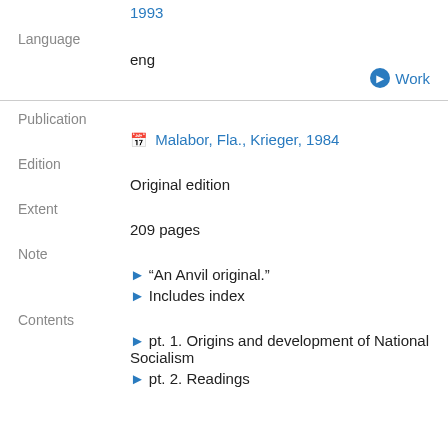1993
Work
Language
eng
Publication
Malabor, Fla., Krieger, 1984
Edition
Original edition
Extent
209 pages
Note
"An Anvil original."
Includes index
Contents
pt. 1. Origins and development of National Socialism
pt. 2. Readings